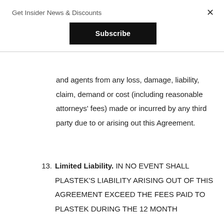Get Insider News & Discounts
and agents from any loss, damage, liability, claim, demand or cost (including reasonable attorneys' fees) made or incurred by any third party due to or arising out this Agreement.
13. Limited Liability. IN NO EVENT SHALL PLASTEK'S LIABILITY ARISING OUT OF THIS AGREEMENT EXCEED THE FEES PAID TO PLASTEK DURING THE 12 MONTH